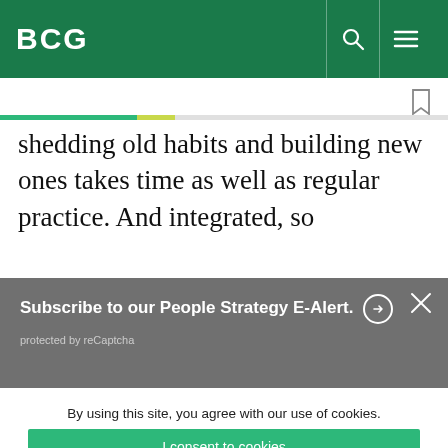BCG
shedding old habits and building new ones takes time as well as regular practice. And integrated, so
Subscribe to our People Strategy E-Alert. protected by reCaptcha
By using this site, you agree with our use of cookies. I consent to cookies Want to know more? Read our Cookie Policy